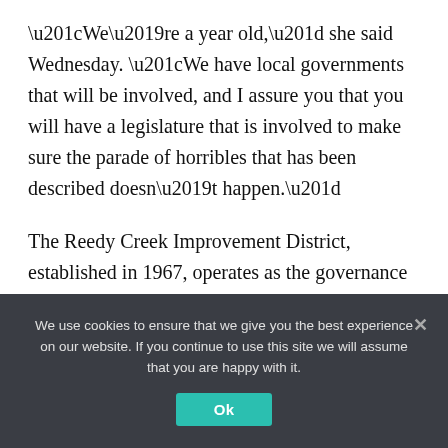“We’re a year old,” she said Wednesday. “We have local governments that will be involved, and I assure you that you will have a legislature that is involved to make sure the parade of horribles that has been described doesn’t happen.”
The Reedy Creek Improvement District, established in 1967, operates as the governance structure for the Disney World properties at Bay Lake and Lake Buena Vista, spanning 39 square miles and lands in Orange and of Osceola.
We use cookies to ensure that we give you the best experience on our website. If you continue to use this site we will assume that you are happy with it.